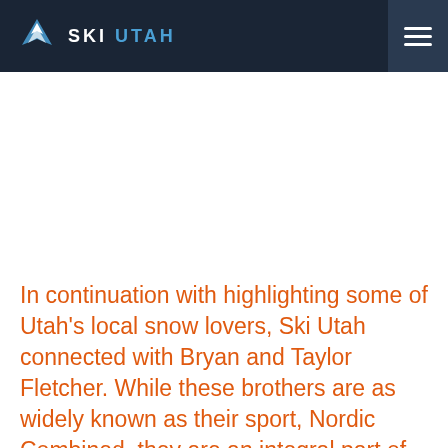SKI UTAH
In continuation with highlighting some of Utah's local snow lovers, Ski Utah connected with Bryan and Taylor Fletcher. While these brothers are as widely known as their sport, Nordic Combined, they are an integral part of winter sports community. Park City locals, Westminster College